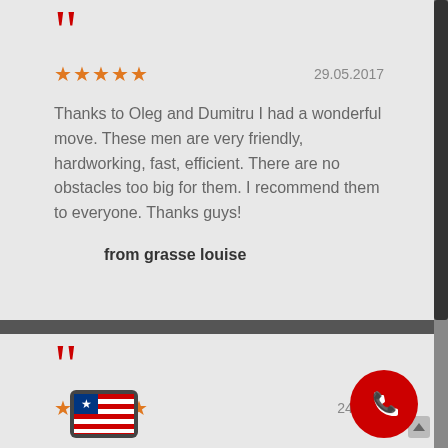[Figure (other): Red double open-quote mark decorative element for first review]
29.05.2017
★★★★★
Thanks to Oleg and Dumitru I had a wonderful move. These men are very friendly, hardworking, fast, efficient. There are no obstacles too big for them. I recommend them to everyone. Thanks guys!
from grasse louise
[Figure (other): Red double open-quote mark decorative element for second review]
★★★★★
24.05.2...